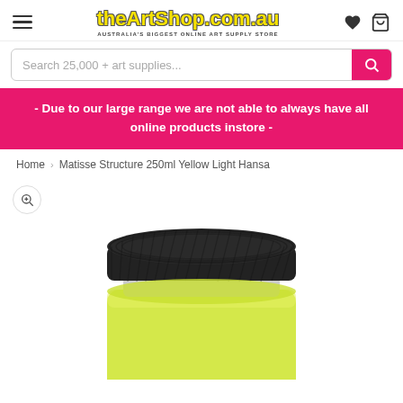theArtShop.com.au — AUSTRALIA'S BIGGEST ONLINE ART SUPPLY STORE
Search 25,000 + art supplies...
- Due to our large range we are not able to always have all online products instore -
Home > Matisse Structure 250ml Yellow Light Hansa
[Figure (photo): Top-down view of a Matisse Structure 250ml Yellow Light Hansa acrylic paint jar with a black screw-top lid and bright yellow paint visible below]